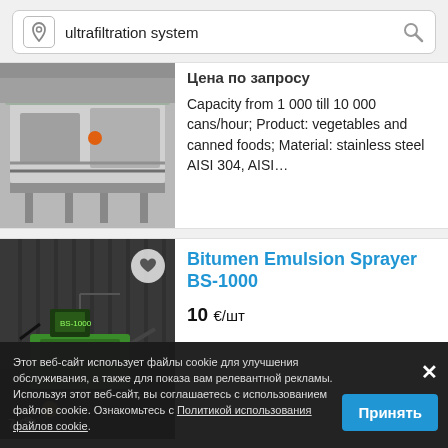ultrafiltration system
[Figure (photo): Industrial canning/filling machine, stainless steel, partially visible]
Цена по запросу

Capacity from 1 000 till 10 000 cans/hour; Product: vegetables and canned foods; Material: stainless steel AISI 304, AISI...
[Figure (photo): Bitumen Emulsion Sprayer BS-1000, black and green machine on trailer, dark background, photo count 7]
Bitumen Emulsion Sprayer BS-1000
10 €/шт
Model BS-1000 characteristics:
Этот веб-сайт использует файлы cookie для улучшения обслуживания, а также для показа вам релевантной рекламы. Используя этот веб-сайт, вы соглашаетесь с использованием файлов cookie. Ознакомьтесь с Политикой использования файлов cookie.